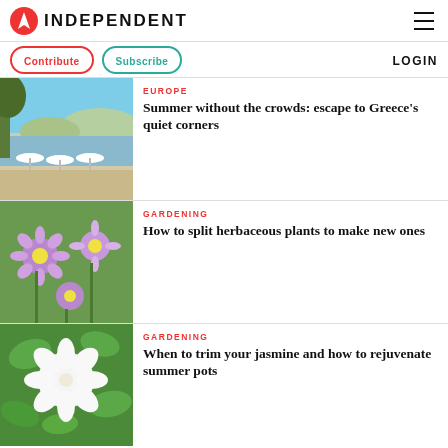INDEPENDENT
Contribute
Subscribe
LOGIN
EUROPE
Summer without the crowds: escape to Greece's quiet corners
[Figure (photo): Beach scene with white umbrellas and parasols by the sea in Greece]
GARDENING
How to split herbaceous plants to make new ones
[Figure (photo): Close-up of purple daisy-like flowers in a garden]
GARDENING
When to trim your jasmine and how to rejuvenate summer pots
[Figure (photo): White jasmine flower against green leaves]